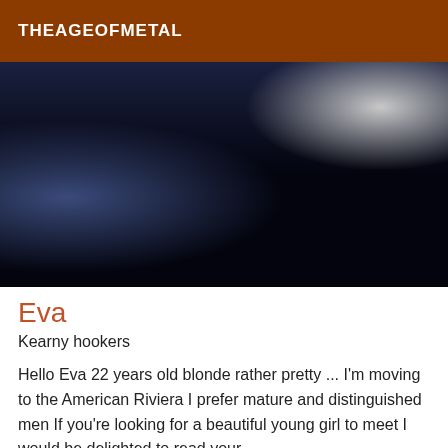THEAGEOFMETAL
[Figure (photo): Dark photo showing a person mostly in shadow against a dark navy/black background with some blue tones on the left side and light grey area upper right]
Eva
Kearny hookers
Hello Eva 22 years old blonde rather pretty ... I'm moving to the American Riviera I prefer mature and distinguished men If you're looking for a beautiful young girl to meet I would be delighted to read your